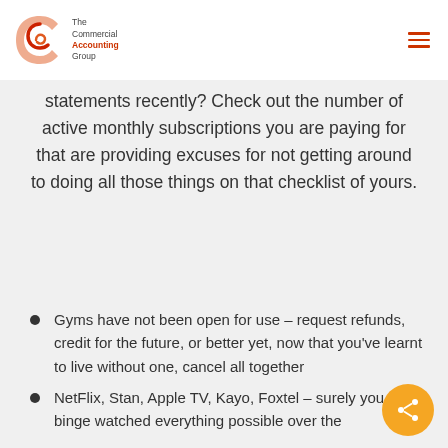The Commercial Accounting Group
statements recently? Check out the number of active monthly subscriptions you are paying for that are providing excuses for not getting around to doing all those things on that checklist of yours.
Gyms have not been open for use – request refunds, credit for the future, or better yet, now that you've learnt to live without one, cancel all together
NetFlix, Stan, Apple TV, Kayo, Foxtel – surely you have binge watched everything possible over the